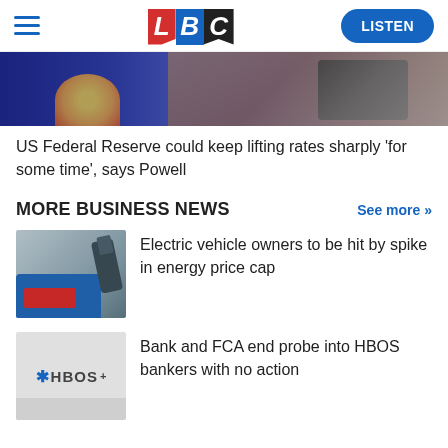LBC — LISTEN
[Figure (photo): Partial view of a person in a suit at a formal setting with a blue background and presidential seal visible]
US Federal Reserve could keep lifting rates sharply ‘for some time’, says Powell
MORE BUSINESS NEWS
See more >>
[Figure (photo): Electric vehicle being charged — close-up of charging port and plug]
Electric vehicle owners to be hit by spike in energy price cap
[Figure (photo): HBOS logo on a grey banner]
Bank and FCA end probe into HBOS bankers with no action